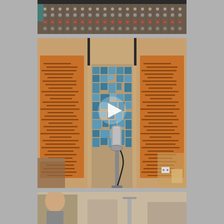[Figure (photo): Top strip photo showing a mixing console / audio equipment panel with numerous knobs and controls in a recording studio setting.]
[Figure (photo): Main photo of a recording studio interior showing two orange wooden acoustic diffuser panels on left and right sides, a blue foam 3D diffuser panel in the center background, a microphone on a stand in the foreground, and a white triangular play button overlay in the center of the image.]
[Figure (photo): Bottom strip photo showing a partial view of a person and studio equipment.]